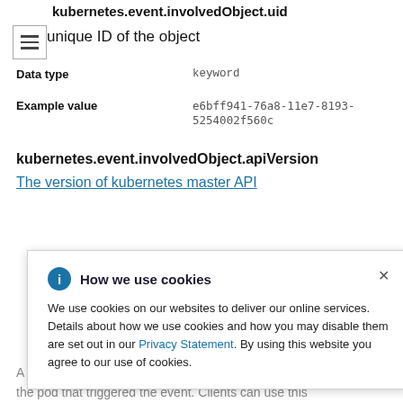kubernetes.event.involvedObject.uid
The unique ID of the object
| Field | Value |
| --- | --- |
| Data type | keyword |
| Example value | e6bff941-76a8-11e7-8193-5254002f560c |
kubernetes.event.involvedObject.apiVersion
The version of kubernetes master API
How we use cookies — We use cookies on our websites to deliver our online services. Details about how we use cookies and how you may disable them are set out in our Privacy Statement. By using this website you agree to our use of cookies.
A string that identifies the server's internal version of the pod that triggered the event. Clients can use this